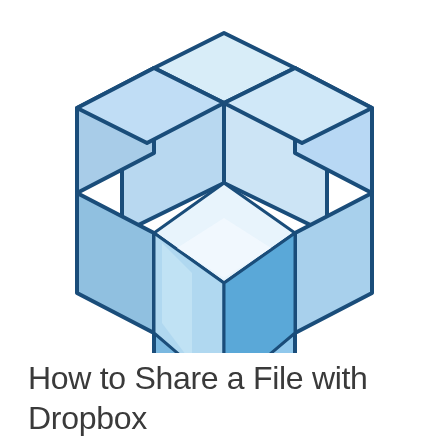[Figure (logo): Dropbox logo: an open cardboard box rendered in light blue and white tones with dark blue outlines, showing the classic Dropbox open-box icon with the lid open and a 3D cube inside]
How to Share a File with Dropbox